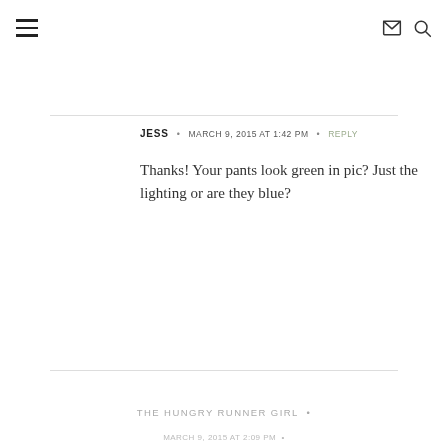☰  ✉  🔍
JESS  •  MARCH 9, 2015 AT 1:42 PM  •  REPLY
Thanks! Your pants look green in pic? Just the lighting or are they blue?
THE HUNGRY RUNNER GIRL  •
MARCH 9, 2015 AT 2:09 PM  •